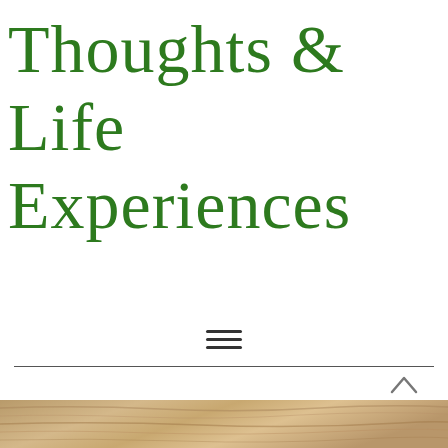Thoughts & Life Experiences
[Figure (other): Hamburger menu icon (three horizontal lines)]
[Figure (other): Upward chevron arrow icon]
[Figure (photo): Wood grain texture photograph at the bottom of the page]